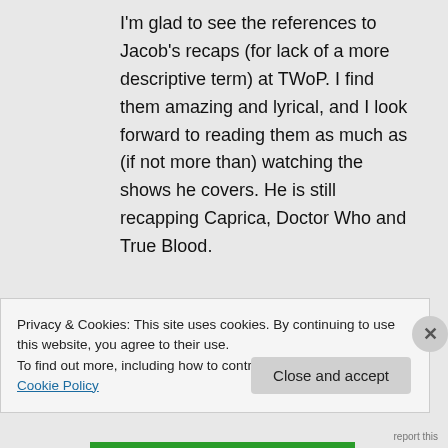I'm glad to see the references to Jacob's recaps (for lack of a more descriptive term) at TWoP. I find them amazing and lyrical, and I look forward to reading them as much as (if not more than) watching the shows he covers. He is still recapping Caprica, Doctor Who and True Blood.
↵ Reply
Privacy & Cookies: This site uses cookies. By continuing to use this website, you agree to their use. To find out more, including how to control cookies, see here: Cookie Policy
Close and accept